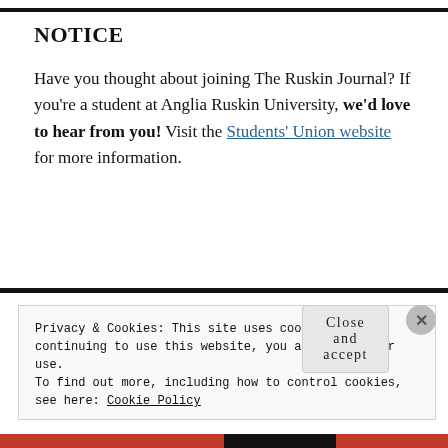NOTICE
Have you thought about joining The Ruskin Journal? If you're a student at Anglia Ruskin University, we'd love to hear from you! Visit the Students' Union website for more information.
Privacy & Cookies: This site uses cookies. By continuing to use this website, you agree to their use.
To find out more, including how to control cookies, see here: Cookie Policy